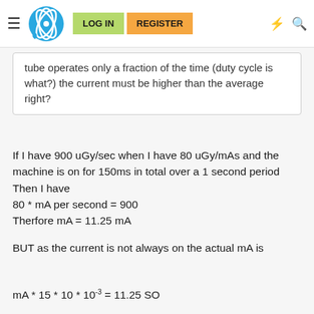≡  [logo]  LOG IN  REGISTER  ⚡  🔍
tube operates only a fraction of the time (duty cycle is what?) the current must be higher than the average right?
If I have 900 uGy/sec when I have 80 uGy/mAs and the machine is on for 150ms in total over a 1 second period
Then I have
80 * mA per second = 900
Therfore mA = 11.25 mA
BUT as the current is not always on the actual mA is
Answer = 75 mA